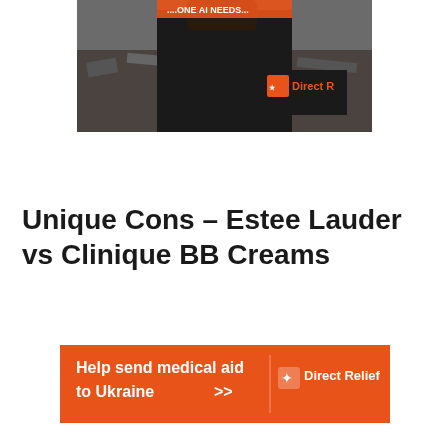[Figure (photo): A person wearing a black jacket with an orange and white Direct R(elief) logo on the back, standing in front of rubble/debris. An orange banner at top partially visible.]
Unique Cons – Estee Lauder vs Clinique BB Creams
[Figure (infographic): Orange advertisement banner: 'Help send medical aid to Ukraine >>' with Direct Relief logo on the right side (white bird/package icon and 'Direct Relief' text in white).]